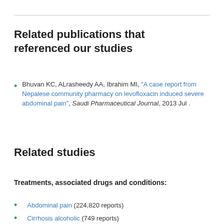Related publications that referenced our studies
Bhuvan KC, ALrasheedy AA, Ibrahim MI, "A case report from Nepalese community pharmacy on levofloxacin induced severe abdominal pain", Saudi Pharmaceutical Journal, 2013 Jul .
Related studies
Treatments, associated drugs and conditions:
Abdominal pain (224,820 reports)
Cirrhosis alcoholic (749 reports)